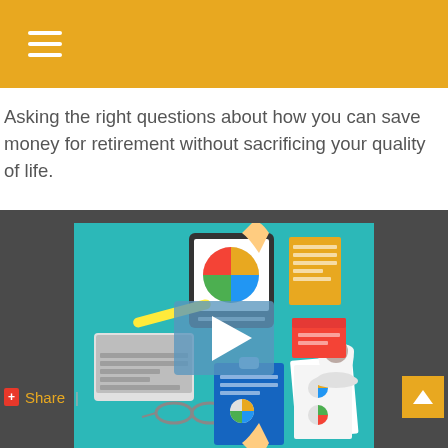Asking the right questions about how you can save money for retirement without sacrificing your quality of life.
[Figure (illustration): Overhead flat-lay illustration of a business meeting table with a tablet showing a pie chart, laptop, clipboard with charts, notepad, glasses, coffee cup, highlighter, and hands pointing at documents. A video play button overlay is centered on the image.]
Share  |